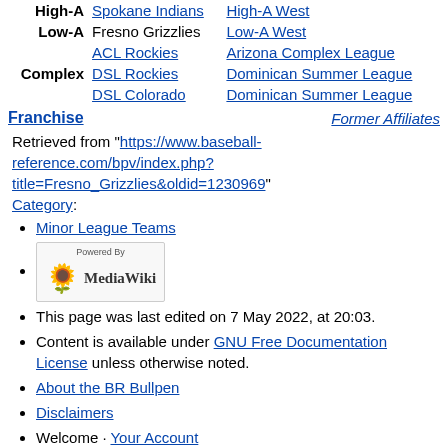| Level | Team | League |
| --- | --- | --- |
| High-A | Spokane Indians | High-A West |
| Low-A | Fresno Grizzlies | Low-A West |
| Complex | ACL Rockies | Arizona Complex League |
| Complex | DSL Rockies | Dominican Summer League |
| Complex | DSL Colorado | Dominican Summer League |
Franchise    Former Affiliates
Retrieved from "https://www.baseball-reference.com/bpv/index.php?title=Fresno_Grizzlies&oldid=1230969" Category:
Minor League Teams
[Figure (logo): Powered by MediaWiki logo]
This page was last edited on 7 May 2022, at 20:03.
Content is available under GNU Free Documentation License unless otherwise noted.
About the BR Bullpen
Disclaimers
Welcome · Your Account